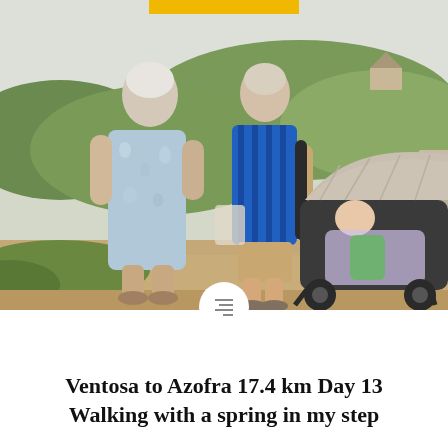[Figure (photo): Two elderly women standing on a dirt road outdoors. The woman on the left wears a blue floral dress and sandals with white hair. The woman on the right wears a blue striped top and shorts, holding the handle of a baby stroller/pram. A baby in a green outfit sits in the stroller with a beige sun canopy. Green hills and a road are visible in the background under a hazy sky.]
Ventosa to Azofra 17.4 km Day 13 Walking with a spring in my step